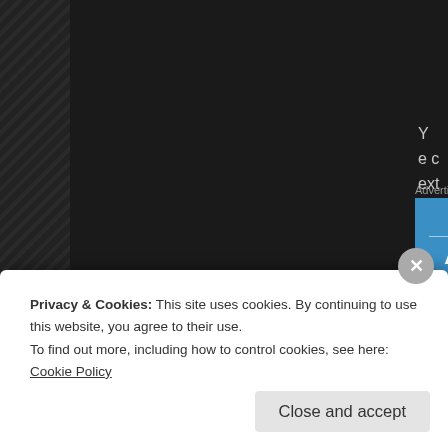[Figure (screenshot): Dark website background with diagonal stripe pattern on the left side and a blue Automattic advertisement banner in the upper right area]
I can't say I've ever struggled with depression.  I've had a couple even had two seasons of what some might call feeling depressed to confess having depression.  My experiences just don't seem t subject.  But I do now recognize that I don't fully know what's unde
Privacy & Cookies: This site uses cookies. By continuing to use this website, you agree to their use.
To find out more, including how to control cookies, see here: Cookie Policy
Close and accept